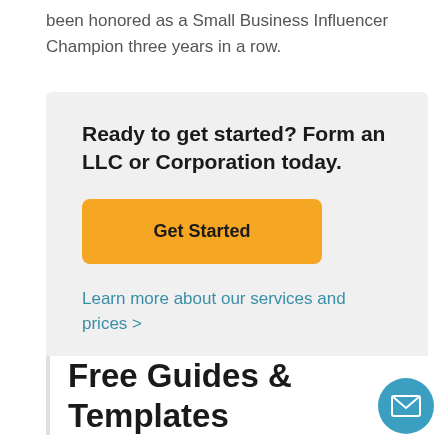been honored as a Small Business Influencer Champion three years in a row.
Ready to get started? Form an LLC or Corporation today.
Get Started
Learn more about our services and prices >
Free Guides & Templates